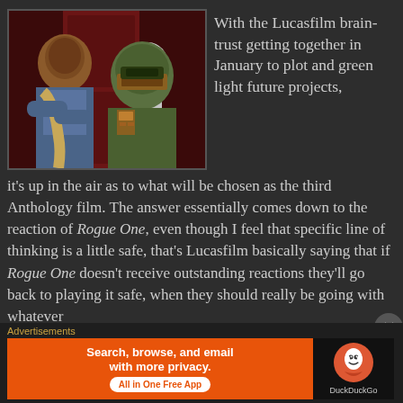[Figure (photo): Movie still showing two characters: a man in a blue shirt on the left and a character in green Mandalorian armor (Boba Fett) on the right, with a Stormtrooper visible in the background. Scene appears to be from Star Wars.]
With the Lucasfilm brain-trust getting together in January to plot and green light future projects, it's up in the air as to what will be chosen as the third Anthology film. The answer essentially comes down to the reaction of Rogue One, even though I feel that specific line of thinking is a little safe, that's Lucasfilm basically saying that if Rogue One doesn't receive outstanding reactions they'll go back to playing it safe, when they should really be going with whatever
Advertisements
[Figure (screenshot): DuckDuckGo advertisement banner. Left side: orange background with text 'Search, browse, and email with more privacy. All in One Free App'. Right side: black background with DuckDuckGo logo (orange circle with duck icon) and 'DuckDuckGo' text.]